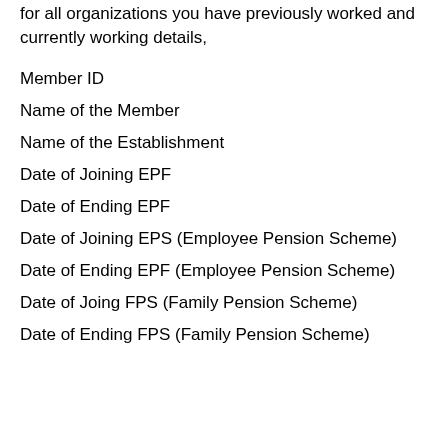for all organizations you have previously worked and currently working details,
Member ID
Name of the Member
Name of the Establishment
Date of Joining EPF
Date of Ending EPF
Date of Joining EPS (Employee Pension Scheme)
Date of Ending EPF (Employee Pension Scheme)
Date of Joing FPS (Family Pension Scheme)
Date of Ending FPS (Family Pension Scheme)